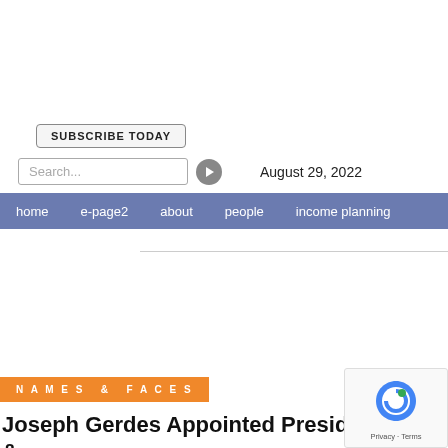SUBSCRIBE TODAY
Search...  August 29, 2022
home  e-page2  about  people  income planning
NAMES & FACES
Joseph Gerdes Appointed President & Equity Advisor Solutions